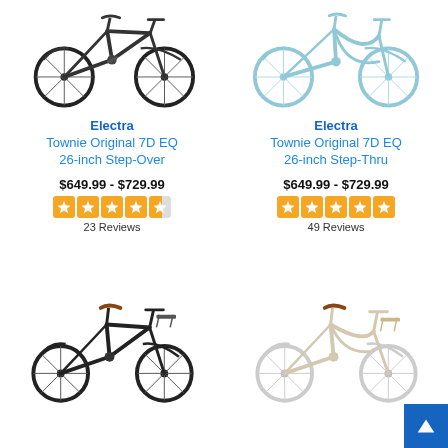[Figure (photo): Black Electra Townie Original 7D EQ 26-inch Step-Over bicycle]
Electra
Townie Original 7D EQ 26-inch Step-Over
$649.99 - $729.99
[Figure (illustration): 4.5 star rating out of 5]
23 Reviews
[Figure (photo): Light blue Electra Townie Original 7D EQ 26-inch Step-Thru bicycle]
Electra
Townie Original 7D EQ 26-inch Step-Thru
$649.99 - $729.99
[Figure (illustration): 5 star rating out of 5]
49 Reviews
[Figure (photo): Dark/black city bicycle with brown saddle and front rack]
[Figure (photo): Cream/white city bicycle with brown saddle and front rack]